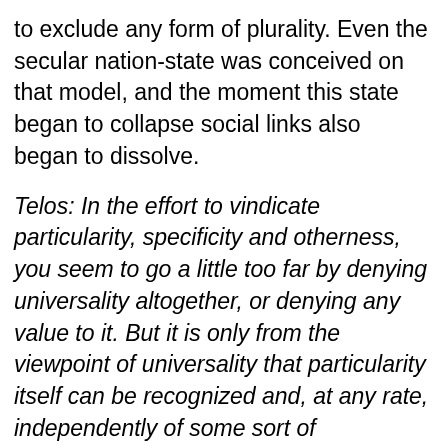to exclude any form of plurality. Even the secular nation-state was conceived on that model, and the moment this state began to collapse social links also began to dissolve.
Telos: In the effort to vindicate particularity, specificity and otherness, you seem to go a little too far by denying universality altogether, or denying any value to it. But it is only from the viewpoint of universality that particularity itself can be recognized and, at any rate, independently of some sort of nomological universality it is impossible even to negotiate the autonomy of the other. You